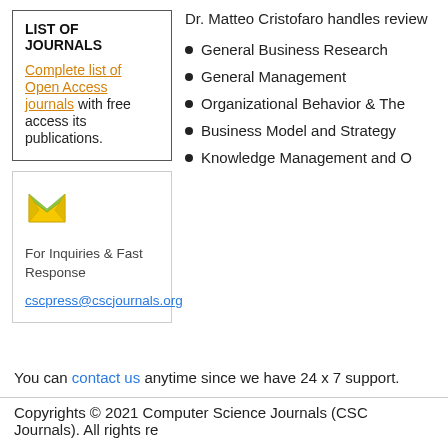LIST OF JOURNALS
Complete list of Open Access journals with free access its publications.
[Figure (illustration): Yellow/green envelope icon for inquiries]
For Inquiries & Fast Response
cscpress@cscjournals.org
Dr. Matteo Cristofaro handles review
General Business Research
General Management
Organizational Behavior & The
Business Model and Strategy
Knowledge Management and O
You can contact us anytime since we have 24 x 7 support.
Copyrights © 2021 Computer Science Journals (CSC Journals). All rights re